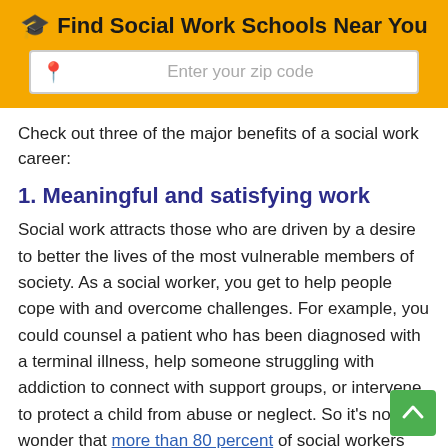[Figure (infographic): Yellow banner with graduation cap emoji and bold text 'Find Social Work Schools Near You', and a white search box below with a pin icon and placeholder text 'Enter your zip code']
Check out three of the major benefits of a social work career:
1. Meaningful and satisfying work
Social work attracts those who are driven by a desire to better the lives of the most vulnerable members of society. As a social worker, you get to help people cope with and overcome challenges. For example, you could counsel a patient who has been diagnosed with a terminal illness, help someone struggling with addiction to connect with support groups, or intervene to protect a child from abuse or neglect. So it's no wonder that more than 80 percent of social workers believe that their jobs make the world a better place.